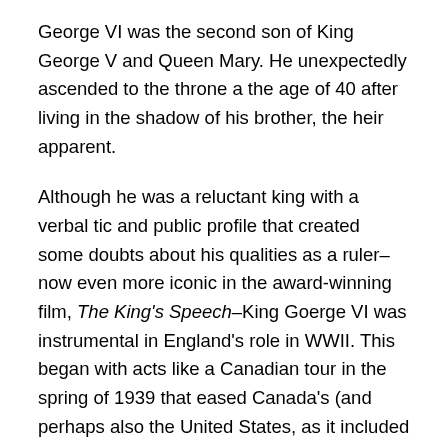George VI was the second son of King George V and Queen Mary. He unexpectedly ascended to the throne a the age of 40 after living in the shadow of his brother, the heir apparent.
Although he was a reluctant king with a verbal tic and public profile that created some doubts about his qualities as a ruler–now even more iconic in the award-winning film, The King's Speech–King Goerge VI was instrumental in England's role in WWII. This began with acts like a Canadian tour in the spring of 1939 that eased Canada's (and perhaps also the United States, as it included a visit with Roosevelt) pathway to joining the Allies in WWII. However, his reputation solidified with frequent public events in Great Britain to raise the spirits of the people, as well as visits to troops throughout the world. The king and queen communicated resiliency and rugged resistance by